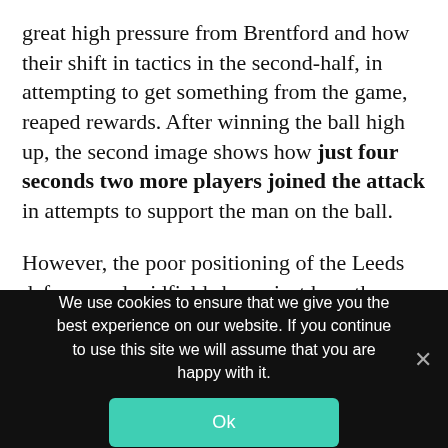great high pressure from Brentford and how their shift in tactics in the second-half, in attempting to get something from the game, reaped rewards. After winning the ball high up, the second image shows how just four seconds two more players joined the attack in attempts to support the man on the ball.
However, the poor positioning of the Leeds defence and midfield shows just how they suffered as a result of Brentford's swift counter. Unable to re-position themselves, the Leeds defence still find themselves out to their left and
We use cookies to ensure that we give you the best experience on our website. If you continue to use this site we will assume that you are happy with it.